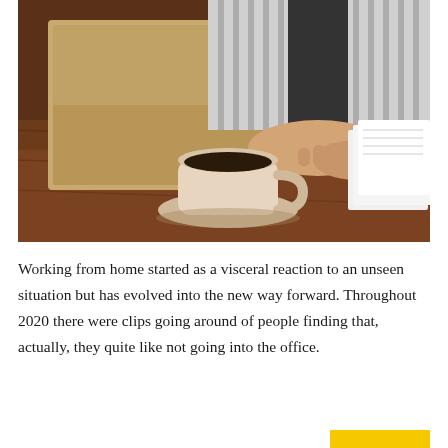[Figure (photo): A person wearing a striped shirt sitting at a wooden table working on a laptop, with a white coffee cup and saucer in the foreground and papers to the right. A close-up lifestyle/work-from-home photo.]
Working from home started as a visceral reaction to an unseen situation but has evolved into the new way forward. Throughout 2020 there were clips going around of people finding that, actually, they quite like not going into the office.